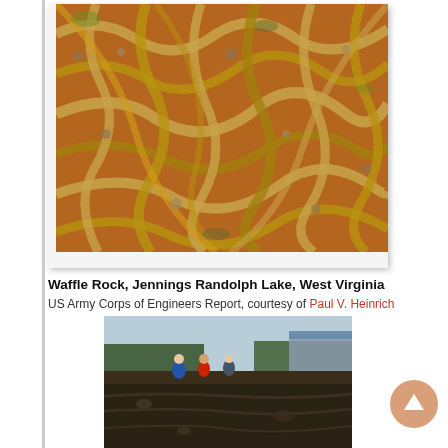[Figure (photo): Aerial or close-up photo of Waffle Rock showing distinctive geometric raised ridge patterns on rock surface, orange-brown in color with irregular polygonal shapes]
Waffle Rock, Jennings Randolph Lake, West Virginia
US Army Corps of Engineers Report, courtesy of Paul V. Heinrich
[Figure (photo): Photo of people standing at the top of an excavated or eroded rock face, showing dark layered rock and soil strata, with buildings visible in the background]